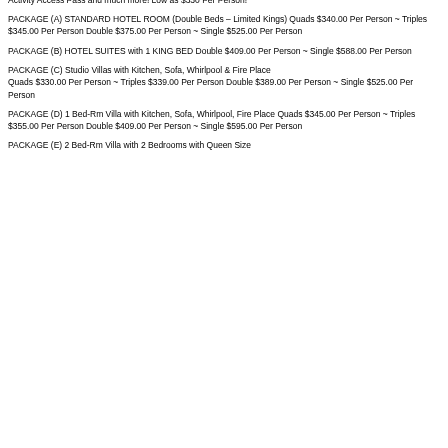SUNDAY GOSPEL PERFORMANCE BEFORE DEPARTURE AND MUCH MUCH MORE!
ALL INCLUSIVE! Your Room, Your Breakfast, Your Dinner, Your Party Food, Your VIP Concert Seat, Your 3 Day Activity Access Pass and much more! Low as $330 Per Person!
PACKAGE (A) STANDARD HOTEL ROOM (Double Beds – Limited Kings) Quads $340.00 Per Person ~ Triples $345.00 Per Person Double $375.00 Per Person ~ Single $525.00 Per Person
PACKAGE (B) HOTEL SUITES with 1 KING BED Double $409.00 Per Person ~ Single $588.00 Per Person
PACKAGE (C) Studio Villas with Kitchen, Sofa, Whirlpool & Fire Place Quads $330.00 Per Person ~ Triples $339.00 Per Person Double $389.00 Per Person ~ Single $525.00 Per Person
PACKAGE (D) 1 Bed-Rm Villa with Kitchen, Sofa, Whirlpool, Fire Place Quads $345.00 Per Person ~ Triples $355.00 Per Person Double $409.00 Per Person ~ Single $595.00 Per Person
PACKAGE (E) 2 Bed-Rm Villa with 2 Bedrooms with Queen Size